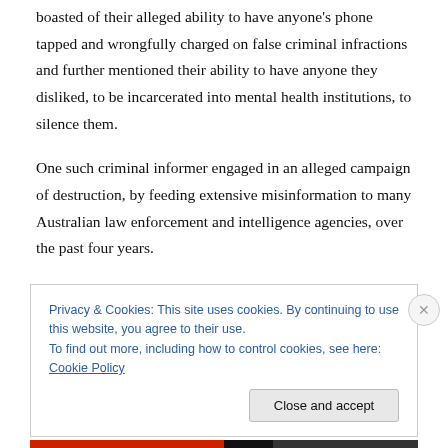boasted of their alleged ability to have anyone's phone tapped and wrongfully charged on false criminal infractions and further mentioned their ability to have anyone they disliked, to be incarcerated into mental health institutions, to silence them.
One such criminal informer engaged in an alleged campaign of destruction, by feeding extensive misinformation to many Australian law enforcement and intelligence agencies, over the past four years.
This woman justified her criminal actions by stating in her
Privacy & Cookies: This site uses cookies. By continuing to use this website, you agree to their use.
To find out more, including how to control cookies, see here: Cookie Policy